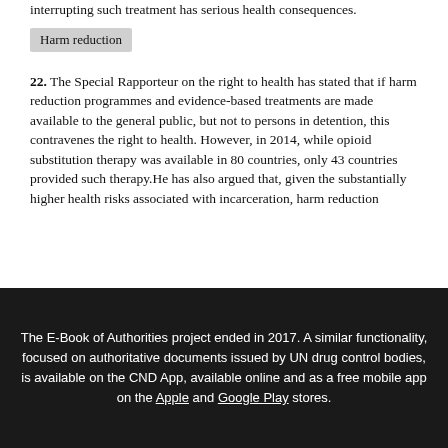interrupting such treatment has serious health consequences.
Harm reduction
22. The Special Rapporteur on the right to health has stated that if harm reduction programmes and evidence-based treatments are made available to the general public, but not to persons in detention, this contravenes the right to health. However, in 2014, while opioid substitution therapy was available in 80 countries, only 43 countries provided such therapy.He has also argued that, given the substantially higher health risks associated with incarceration, harm reduction
The E-Book of Authorities project ended in 2017. A similar functionality, focused on authoritative documents issued by UN drug control bodies, is available on the CND App, available online and as a free mobile app on the Apple and Google Play stores.